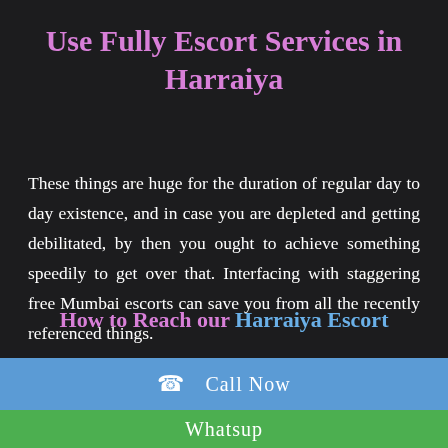Use Fully Escort Services in Harraiya
These things are huge for the duration of regular day to day existence, and in case you are depleted and getting debilitated, by then you ought to achieve something speedily to get over that. Interfacing with staggering free Mumbai escorts can save you from all the recently referenced things.
How to Reach our Harraiya Escort
📞  Call Now
Whatsup